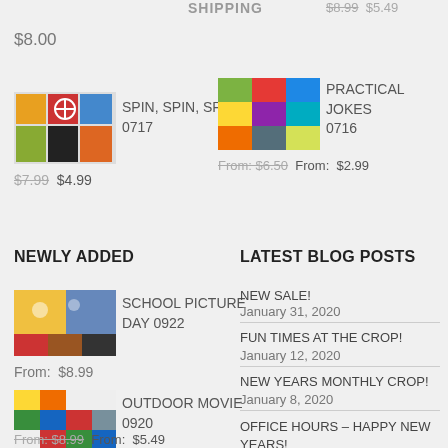SHIPPING
$8.99  $5.49
$8.00
[Figure (photo): Colorful spinning toy product image]
SPIN, SPIN, SPIN 0717
$7.99  $4.99
[Figure (photo): Colorful patterned paper product image for Practical Jokes]
PRACTICAL JOKES 0716
From: $6.50  From: $2.99
NEWLY ADDED
LATEST BLOG POSTS
[Figure (photo): School Picture Day product image]
SCHOOL PICTURE DAY 0922
From: $8.99
NEW SALE!
January 31, 2020
FUN TIMES AT THE CROP!
January 12, 2020
[Figure (photo): Outdoor Movie product image]
OUTDOOR MOVIE 0920
From: $8.99  From: $5.49
NEW YEARS MONTHLY CROP!
January 8, 2020
OFFICE HOURS – HAPPY NEW YEARS!